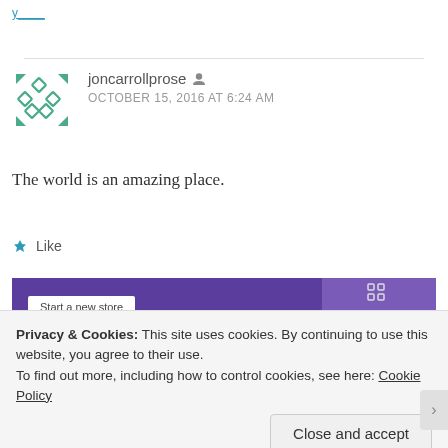joncarrollprose
OCTOBER 15, 2016 AT 6:24 AM
The world is an amazing place.
Like
[Figure (screenshot): Purple banner advertisement with 'Start a new store' white box and icons on the right side]
Privacy & Cookies: This site uses cookies. By continuing to use this website, you agree to their use.
To find out more, including how to control cookies, see here: Cookie Policy
Close and accept